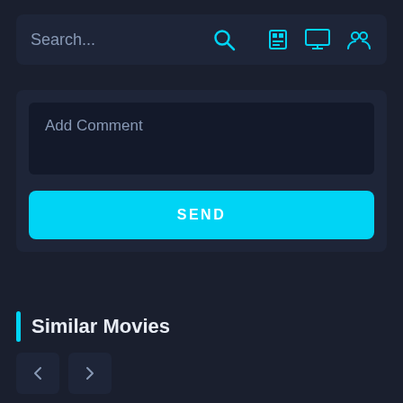Search...
Add Comment
SEND
Similar Movies